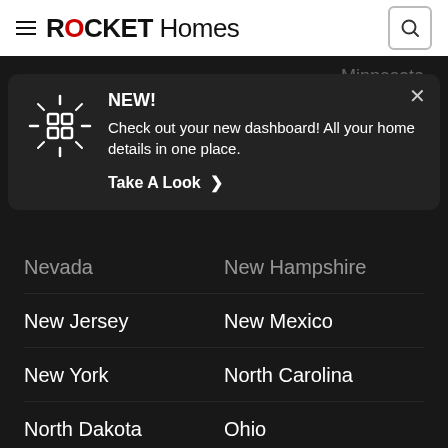ROCKET Homes
[Figure (screenshot): Rocket Homes website header with hamburger menu, ROCKET Homes logo (O in red), and search icon button]
NEW! Check out your new dashboard! All your home details in one place. Take A Look >
Minnesota
Mississippi
Missouri
Montana
Nebraska
Nevada
New Hampshire
New Jersey
New Mexico
New York
North Carolina
North Dakota
Ohio
Oklahoma
Oregon